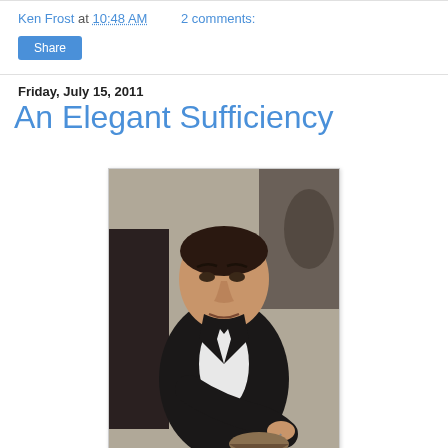Ken Frost at 10:48 AM   2 comments:
Share
Friday, July 15, 2011
An Elegant Sufficiency
[Figure (photo): A man in a dark suit eating, holding a spoon over a cup or bowl, photographed at a restaurant or dining setting.]